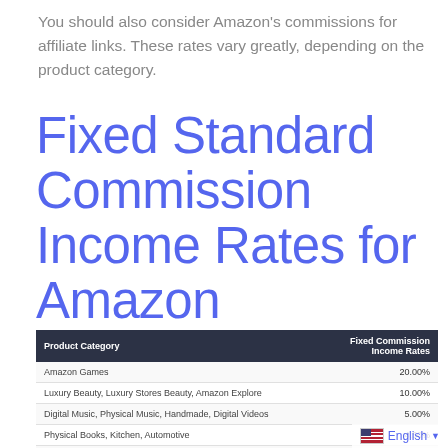You should also consider Amazon's commissions for affiliate links. These rates vary greatly, depending on the product category.
Fixed Standard Commission Income Rates for Amazon Associates
| Product Category | Fixed Commission Income Rates |
| --- | --- |
| Amazon Games | 20.00% |
| Luxury Beauty, Luxury Stores Beauty, Amazon Explore | 10.00% |
| Digital Music, Physical Music, Handmade, Digital Videos | 5.00% |
| Physical Books, Kitchen, Automotive | 4.50% |
| Amazon Fire Tablet Devices, Amazon Kindle Devices, Amazon Fashion Women's, Men's & Kids Private Label, Luxury Stores Fashion, Apparel, Amazon Cloud Cam Devices, Fire TV Edition Smart TVs, Amazon Fire TV Devices, Amazon Echo Devices, Fire Devices, Watches, Jewelry, Luggage, Shoes, and Handbags & Accessories | 4.00% |